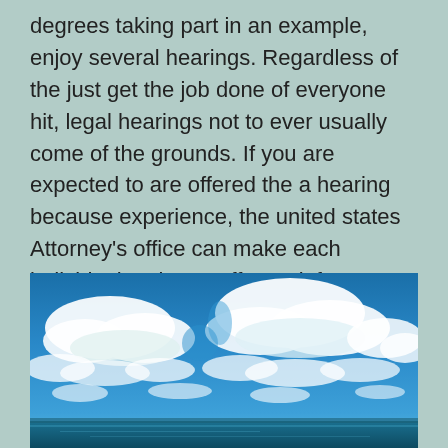degrees taking part in an example, enjoy several hearings. Regardless of the just get the job done of everyone hit, legal hearings not to ever usually come of the grounds. If you are expected to are offered the a hearing because experience, the united states Attorney's office can make each individual make an effort to inform you in advance of some form of postponements and various other basis alter.
[Figure (photo): Landscape photograph of a blue sky with large white cumulus clouds over a calm ocean or sea, with a slight horizon line visible at the bottom.]